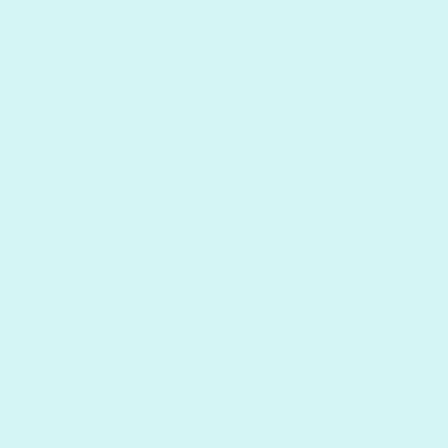ma I'm del my And wh' do tha kin of role pla in a YA of all pla It's not as if kid: